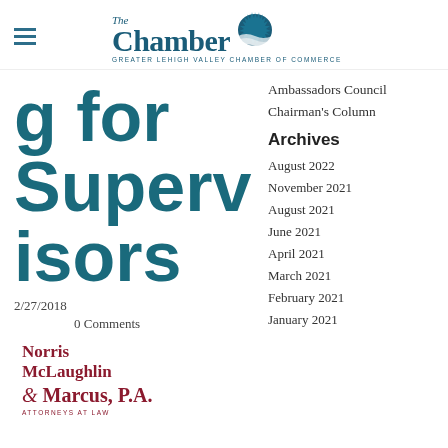[Figure (logo): The Chamber - Greater Lehigh Valley Chamber of Commerce logo with sun/wave icon]
Ambassadors Council
Chairman's Column
g for Supervisors
2/27/2018
0 Comments
[Figure (logo): Norris McLaughlin & Marcus, P.A. Attorneys At Law logo]
Archives
August 2022
November 2021
August 2021
June 2021
April 2021
March 2021
February 2021
January 2021